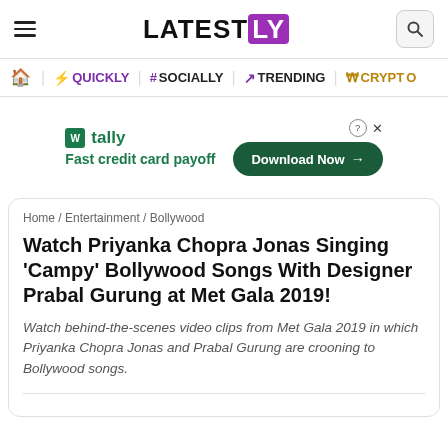LATEST LY
Home | QUICKLY | # SOCIALLY | TRENDING | CRYPTO
[Figure (other): Tally app advertisement banner with 'Fast credit card payoff' tagline and 'Download Now' button]
Home / Entertainment / Bollywood
Watch Priyanka Chopra Jonas Singing 'Campy' Bollywood Songs With Designer Prabal Gurung at Met Gala 2019!
Watch behind-the-scenes video clips from Met Gala 2019 in which Priyanka Chopra Jonas and Prabal Gurung are crooning to Bollywood songs.